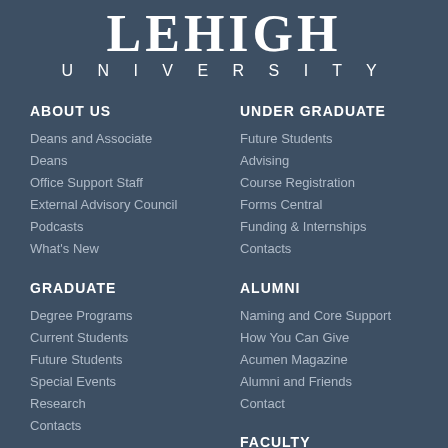[Figure (logo): Lehigh University logo with large serif LEHIGH text and UNIVERSITY in spaced caps below]
ABOUT US
Deans and Associate Deans
Office Support Staff
External Advisory Council
Podcasts
What's New
UNDER GRADUATE
Future Students
Advising
Course Registration
Forms Central
Funding & Internships
Contacts
GRADUATE
Degree Programs
Current Students
Future Students
Special Events
Research
Contacts
ALUMNI
Naming and Core Support
How You Can Give
Acumen Magazine
Alumni and Friends Contact
FACULTY
Faculty/Staff Directory